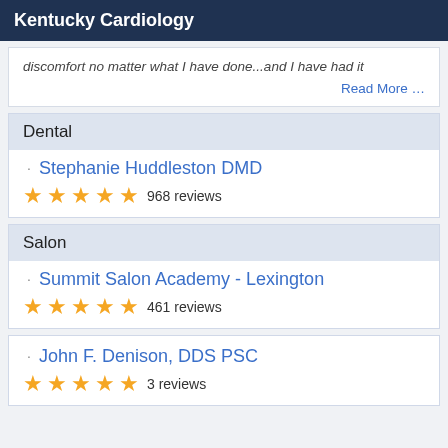Kentucky Cardiology
discomfort no matter what I have done...and I have had it
Read More …
Dental
Stephanie Huddleston DMD
968 reviews
Salon
Summit Salon Academy - Lexington
461 reviews
John F. Denison, DDS PSC
3 reviews